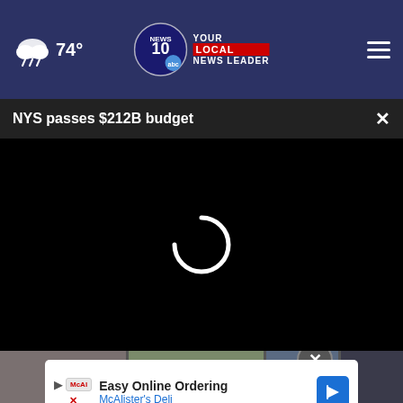74° NEWS 10 YOUR LOCAL NEWS LEADER
NYS passes $212B budget
[Figure (screenshot): Black video player with loading spinner (white arc)]
[Figure (screenshot): Bottom thumbnail strip with three news thumbnails and a close circle button]
[Figure (other): Advertisement banner: Easy Online Ordering - McAlister's Deli with blue arrow icon]